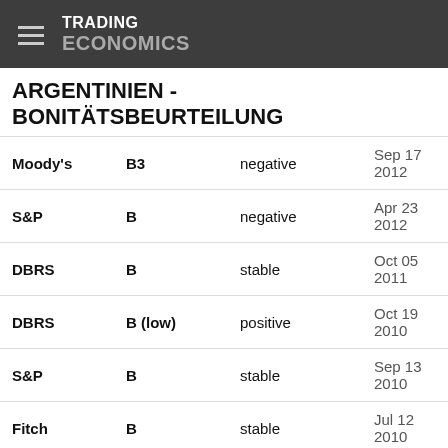TRADING ECONOMICS
ARGENTINIEN - BONITÄTSBEURTEILUNG
| Agency | Rating | Outlook | Date |
| --- | --- | --- | --- |
| Moody's | B3 | negative | Sep 17 2012 |
| S&P | B | negative | Apr 23 2012 |
| DBRS | B | stable | Oct 05 2011 |
| DBRS | B (low) | positive | Oct 19 2010 |
| S&P | B | stable | Sep 13 2010 |
| Fitch | B | stable | Jul 12 2010 |
| S&P | B- | stable | Oct 31 2008 |
| DBRS | B (low) | negative | Oct 22 2008 |
| Moody's | B3 | stable | Aug 14 2008 |
| S&P | B | stable | Aug 11 2008 |